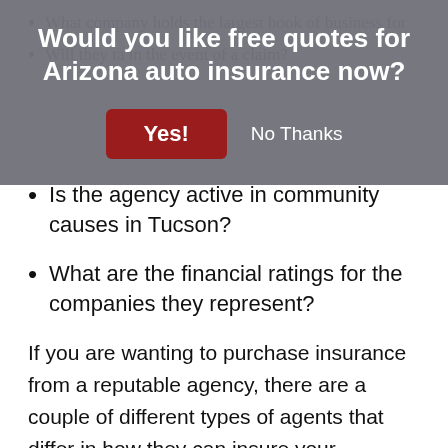[Figure (screenshot): Modal dialog overlay with gray background asking 'Would you like free quotes for Arizona auto insurance now?' with a red 'Yes!' button and 'No Thanks' text option]
Is the agency active in community causes in Tucson?
What are the financial ratings for the companies they represent?
If you are wanting to purchase insurance from a reputable agency, there are a couple of different types of agents that differ in how they can insure your vehicles. Insurance policy providers are categorized either exclusive or independent agents depending on their company appointments.